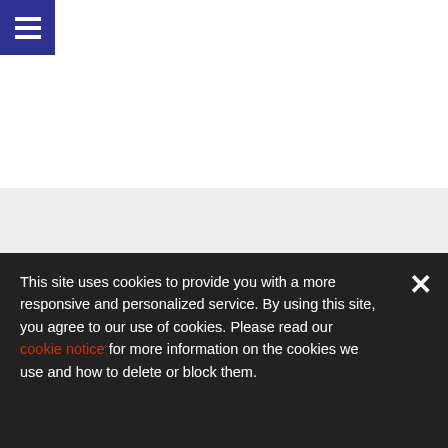[Figure (screenshot): Navigation header bar with dark blue/indigo background containing a hamburger menu icon (three horizontal white lines) in the top-left corner. Below and to the right is a white content area (mostly blank). Below the white area is a light gray content area (also blank).]
This site uses cookies to provide you with a more responsive and personalized service. By using this site, you agree to our use of cookies. Please read our cookie notice for more information on the cookies we use and how to delete or block them.